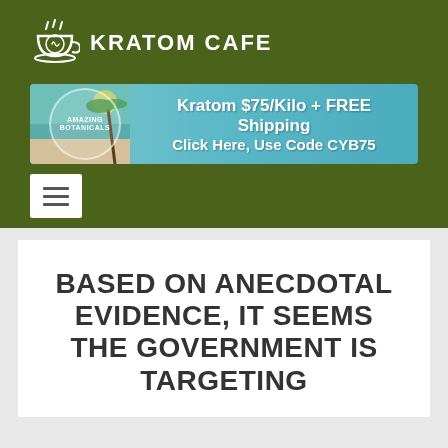KRATOM CAFE
[Figure (infographic): Advertisement banner: Kratom $75/Kilo + FREE Shipping, Click Here, Use Code CYB75, Amazing Botanicals logo]
BASED ON ANECDOTAL EVIDENCE, IT SEEMS THE GOVERNMENT IS TARGETING